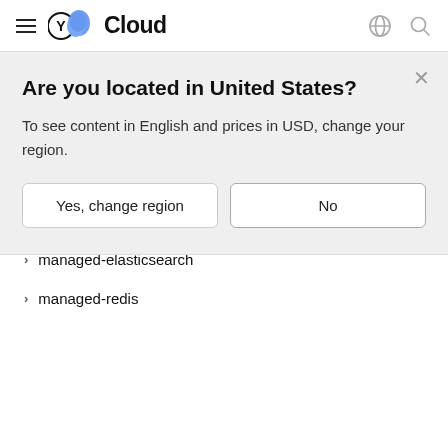Yandex Cloud
Are you located in United States?
To see content in English and prices in USD, change your region.
Yes, change region
No
managed-mongodb
managed-mysql
managed-sqlserver
managed-postgresql
managed-elasticsearch
managed-redis